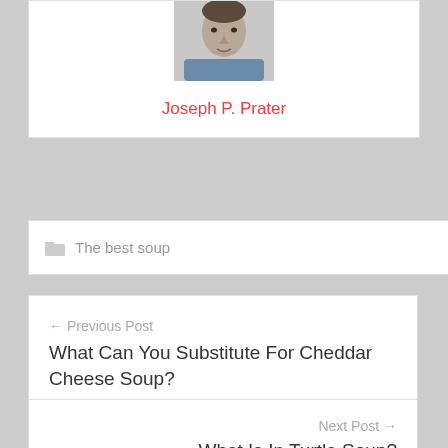[Figure (photo): Headshot photo of a man in a blue shirt against a white background]
Joseph P. Prater
The best soup
← Previous Post
What Can You Substitute For Cheddar Cheese Soup?
Next Post →
What Is In Turtle Soup?